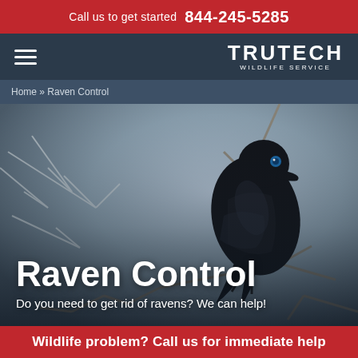Call us to get started 844-245-5285
[Figure (logo): Trutech Wildlife Service logo with hamburger menu icon on dark navy background]
Home » Raven Control
[Figure (photo): A black raven perched on a bare branch with a blurred wintry background. Large white bold text reads 'Raven Control' with subtitle 'Do you need to get rid of ravens? We can help!']
Wildlife problem? Call us for immediate help